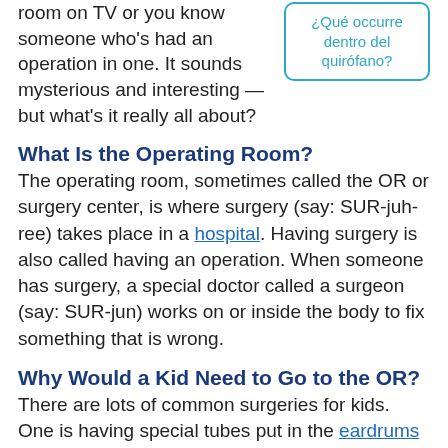room on TV or you know someone who's had an operation in one. It sounds mysterious and interesting — but what's it really all about?
¿Qué occurre dentro del quirófano?
What Is the Operating Room?
The operating room, sometimes called the OR or surgery center, is where surgery (say: SUR-juh-ree) takes place in a hospital. Having surgery is also called having an operation. When someone has surgery, a special doctor called a surgeon (say: SUR-jun) works on or inside the body to fix something that is wrong.
Why Would a Kid Need to Go to the OR?
There are lots of common surgeries for kids. One is having special tubes put in the eardrums to help prevent ear infections and improve hearing. Or someone who gets tonsillitis again and again might